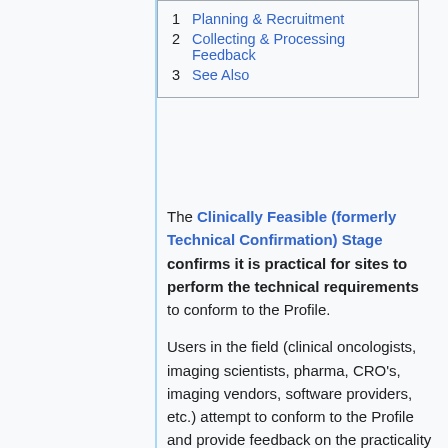1  Planning & Recruitment
2  Collecting & Processing Feedback
3  See Also
The Clinically Feasible (formerly Technical Confirmation) Stage confirms it is practical for sites to perform the technical requirements to conform to the Profile.
Users in the field (clinical oncologists, imaging scientists, pharma, CRO's, imaging vendors, software providers, etc.) attempt to conform to the Profile and provide feedback on the practicality of the requirements (and the usability of the document).
Whereas the preceding Public Comment Stage collected feedback based on people reading the Profile document